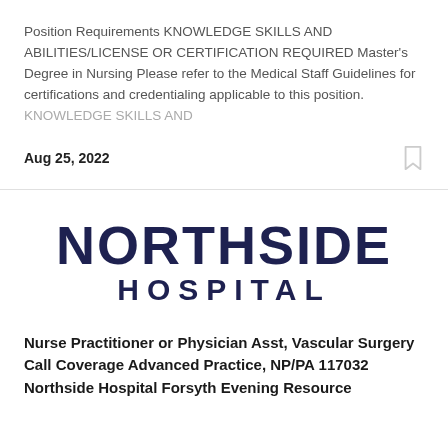Position Requirements KNOWLEDGE SKILLS AND ABILITIES/LICENSE OR CERTIFICATION REQUIRED Master's Degree in Nursing Please refer to the Medical Staff Guidelines for certifications and credentialing applicable to this position. KNOWLEDGE SKILLS AND
Aug 25, 2022
[Figure (logo): Northside Hospital logo — two lines: NORTHSIDE in large bold dark navy, HOSPITAL in smaller bold dark navy with wide letter spacing]
Nurse Practitioner or Physician Asst, Vascular Surgery Call Coverage Advanced Practice, NP/PA 117032 Northside Hospital Forsyth Evening Resource